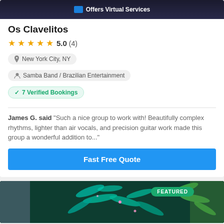[Figure (screenshot): Top dark image strip with 'Offers Virtual Services' badge]
Os Clavelitos
★★★★★ 5.0 (4)
New York City, NY
Samba Band / Brazilian Entertainment
✓ 7 Verified Bookings
James G. said "Such a nice group to work with! Beautifully complex rhythms, lighter than air vocals, and precision guitar work made this group a wonderful addition to..."
Fast Free Quote
[Figure (photo): Featured image showing colorful carnival/samba costume with teal and green feathers, with FEATURED badge overlay]